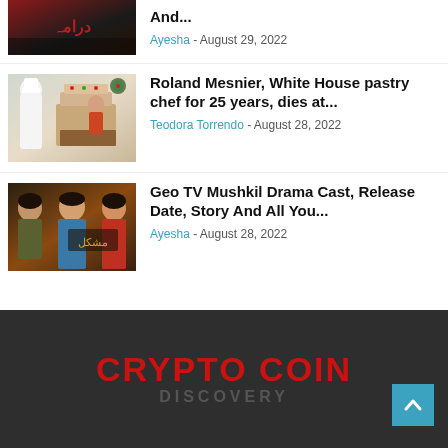[Figure (photo): Drama poster thumbnail (partial, top cropped) with dark red and black tones]
And...
Ayesha - August 29, 2022
[Figure (photo): Photo of Roland Mesnier, White House pastry chef, with a large decorated cake display]
Roland Mesnier, White House pastry chef for 25 years, dies at...
Teodora Torrendo - August 28, 2022
[Figure (photo): Geo TV Mushkil drama cast poster with actors in dramatic poses]
Geo TV Mushkil Drama Cast, Release Date, Story And All You...
Ayesha - August 28, 2022
CRYPTO COIN DISCOVERY